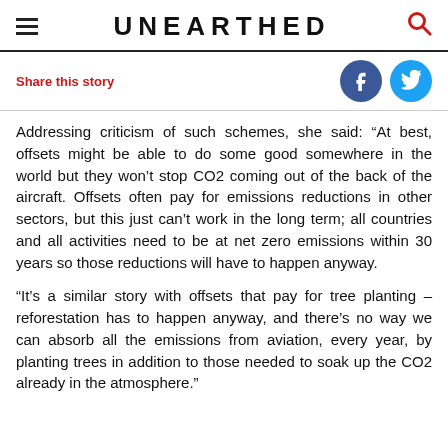UNEARTHED
Share this story
Addressing criticism of such schemes, she said: “At best, offsets might be able to do some good somewhere in the world but they won’t stop CO2 coming out of the back of the aircraft. Offsets often pay for emissions reductions in other sectors, but this just can’t work in the long term; all countries and all activities need to be at net zero emissions within 30 years so those reductions will have to happen anyway.
“It’s a similar story with offsets that pay for tree planting – reforestation has to happen anyway, and there’s no way we can absorb all the emissions from aviation, every year, by planting trees in addition to those needed to soak up the CO2 already in the atmosphere.”